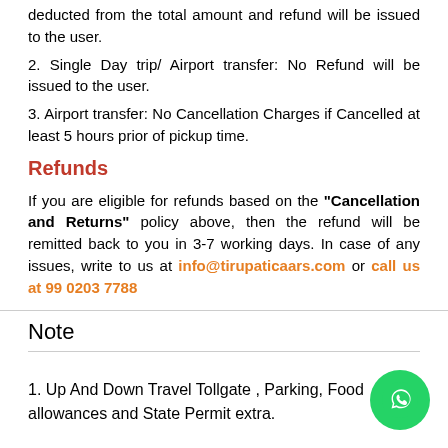deducted from the total amount and refund will be issued to the user.
2. Single Day trip/ Airport transfer: No Refund will be issued to the user.
3. Airport transfer: No Cancellation Charges if Cancelled at least 5 hours prior of pickup time.
Refunds
If you are eligible for refunds based on the "Cancellation and Returns" policy above, then the refund will be remitted back to you in 3-7 working days. In case of any issues, write to us at info@tirupaticaars.com or call us at 99 0203 7788
Note
1. Up And Down Travel Tollgate , Parking, Food allowances and State Permit extra.